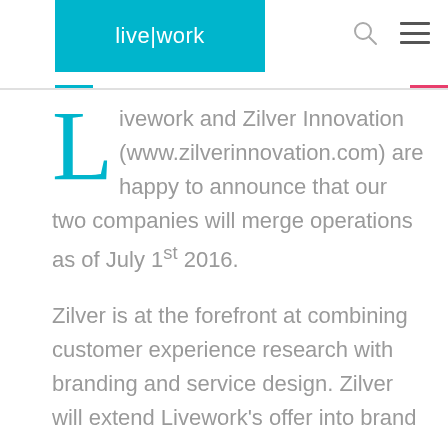live|work
Livework and Zilver Innovation (www.zilverinnovation.com) are happy to announce that our two companies will merge operations as of July 1st 2016.
Zilver is at the forefront at combining customer experience research with branding and service design. Zilver will extend Livework's offer into brand